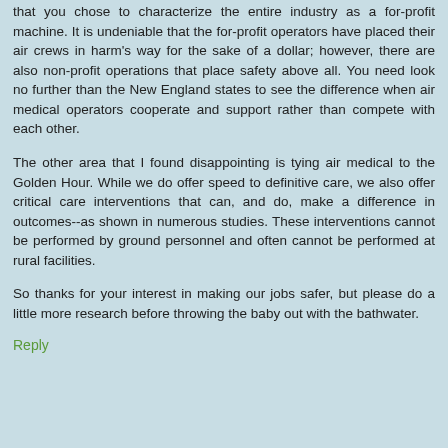that you chose to characterize the entire industry as a for-profit machine. It is undeniable that the for-profit operators have placed their air crews in harm's way for the sake of a dollar; however, there are also non-profit operations that place safety above all. You need look no further than the New England states to see the difference when air medical operators cooperate and support rather than compete with each other.
The other area that I found disappointing is tying air medical to the Golden Hour. While we do offer speed to definitive care, we also offer critical care interventions that can, and do, make a difference in outcomes--as shown in numerous studies. These interventions cannot be performed by ground personnel and often cannot be performed at rural facilities.
So thanks for your interest in making our jobs safer, but please do a little more research before throwing the baby out with the bathwater.
Reply